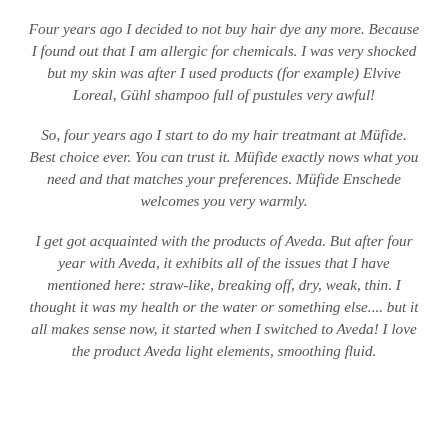Four years ago I decided to not buy hair dye any more. Because I found out that I am allergic for chemicals. I was very shocked but my skin was after I used products (for example) Elvive Loreal, Gühl shampoo full of pustules very awful!
So, four years ago I start to do my hair treatmant at Müfide. Best choice ever. You can trust it. Müfide exactly nows what you need and that matches your preferences. Müfide Enschede welcomes you very warmly.
I get got acquainted with the products of Aveda. But after four year with Aveda, it exhibits all of the issues that I have mentioned here: straw-like, breaking off, dry, weak, thin. I thought it was my health or the water or something else.... but it all makes sense now, it started when I switched to Aveda! I love the product Aveda light elements, smoothing fluid.